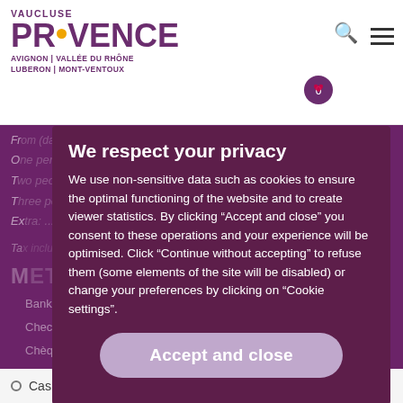[Figure (logo): Vaucluse Provence logo with text: VAUCLUSE PROVENCE AVIGNON | VALLÉE DU RHÔNE LUBERON | MONT-VENTOUX]
VAUCLUSE
PROVENCE
AVIGNON | VALLÉE DU RHÔNE
LUBERON | MONT-VENTOUX
From (dates) (Medium or low season)
One person: 85 to 105 €
Two people: 90 to 115 €
Three people: ...
Extra: ...
METHODS OF PAYMENT
Bank/credit card
Check
Chèques Vacances
Cash
We respect your privacy
We use non-sensitive data such as cookies to ensure the optimal functioning of the website and to create viewer statistics. By clicking "Accept and close" you consent to these operations and your experience will be optimised. Click "Continue without accepting" to refuse them (some elements of the site will be disabled) or change your preferences by clicking on "Cookie settings".
Accept and close